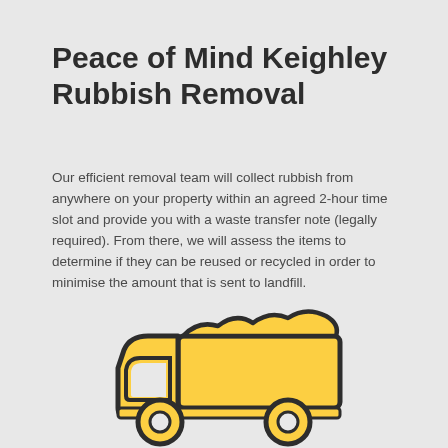Peace of Mind Keighley Rubbish Removal
Our efficient removal team will collect rubbish from anywhere on your property within an agreed 2-hour time slot and provide you with a waste transfer note (legally required). From there, we will assess the items to determine if they can be reused or recycled in order to minimise the amount that is sent to landfill.
[Figure (illustration): Yellow dump truck icon with dark outline carrying a load of rubbish/waste material]